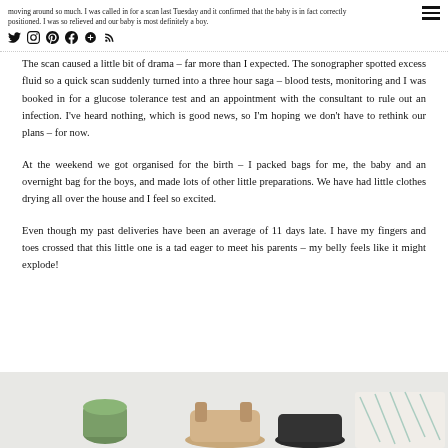moving around so much. I was called in for a scan last Tuesday and it confirmed that the baby is in fact correctly positioned. I was so relieved and our baby is most definitely a boy.
The scan caused a little bit of drama – far more than I expected. The sonographer spotted excess fluid so a quick scan suddenly turned into a three hour saga – blood tests, monitoring and I was booked in for a glucose tolerance test and an appointment with the consultant to rule out an infection. I've heard nothing, which is good news, so I'm hoping we don't have to rethink our plans – for now.
At the weekend we got organised for the birth – I packed bags for me, the baby and an overnight bag for the boys, and made lots of other little preparations. We have had little clothes drying all over the house and I feel so excited.
Even though my past deliveries have been an average of 11 days late. I have my fingers and toes crossed that this little one is a tad eager to meet his parents – my belly feels like it might explode!
[Figure (photo): Photo showing feet/shoes and items on the floor including what appears to be a green item, sandals, and patterned fabric]